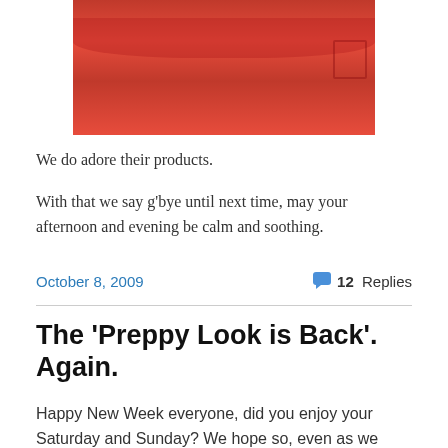[Figure (photo): Cropped photo of red fabric/shorts from above]
We do adore their products.
With that we say g'bye until next time, may your afternoon and evening be calm and soothing.
October 8, 2009   12 Replies
The ‘Preppy Look is Back’. Again.
Happy New Week everyone, did you enjoy your Saturday and Sunday? We hope so, even as we start our Monday